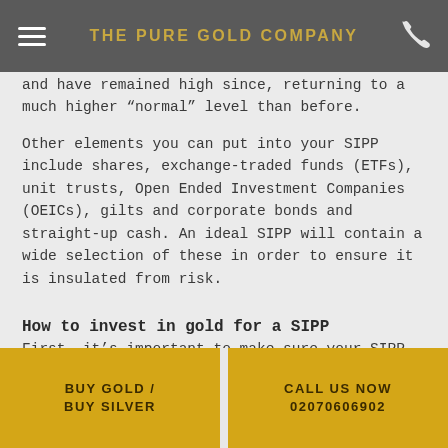THE PURE GOLD COMPANY
and have remained high since, returning to a much higher “normal” level than before.
Other elements you can put into your SIPP include shares, exchange-traded funds (ETFs), unit trusts, Open Ended Investment Companies (OEICs), gilts and corporate bonds and straight-up cash. An ideal SIPP will contain a wide selection of these in order to ensure it is insulated from risk.
How to invest in gold for a SIPP
First, it’s important to make sure your SIPP supports gold investment, as not all the SIPPs on the market do. Secondly, gold should not comprise your entire
BUY GOLD / BUY SILVER | CALL US NOW 02070606902